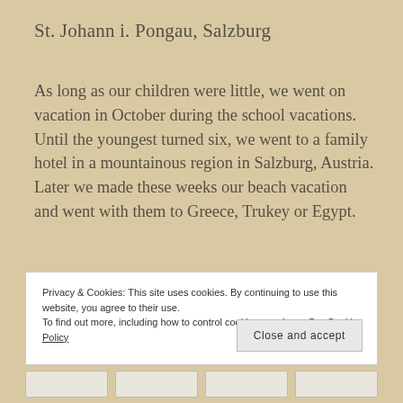St. Johann i. Pongau, Salzburg
As long as our children were little, we went on vacation in October during the school vacations. Until the youngest turned six, we went to a family hotel in a mountainous region in Salzburg, Austria. Later we made these weeks our beach vacation and went with them to Greece, Trukey or Egypt.
Privacy & Cookies: This site uses cookies. By continuing to use this website, you agree to their use.
To find out more, including how to control cookies, see here: Our Cookie Policy
Close and accept